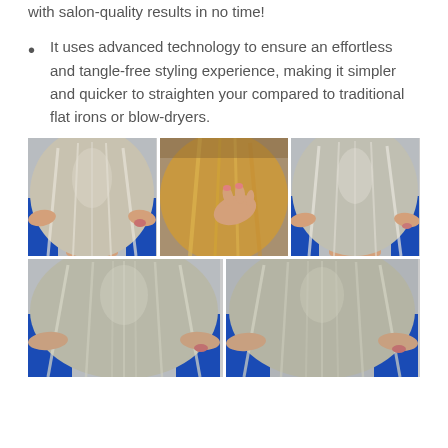with salon-quality results in no time!
It uses advanced technology to ensure an effortless and tangle-free styling experience, making it simpler and quicker to straighten your compared to traditional flat irons or blow-dryers.
[Figure (photo): A collage of 5 photos showing women with long straight hair, before and after styling. Photos show the back view of long silky blonde/ash hair being held out, with blue chairs visible in the background.]